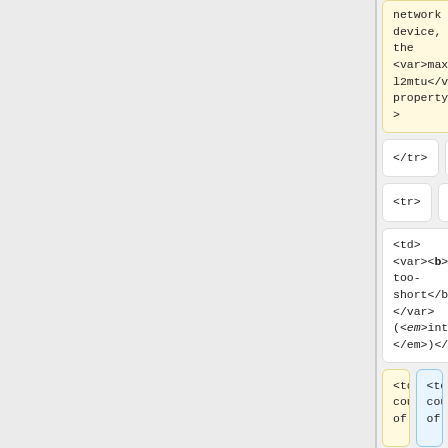network device, see the <var>max-l2mtu</var> property</td>
network device, see the <var>max-l2mtu</var> property</td>
</tr>
</tr>
<tr>
<tr>
<td><var><b>rx-too-short</b></var>(<em>integer</em>)</td>
<td><var><b>rx-too-short</b></var>(<em>integer</em>)</td>
<td>Total count of
<td>Total count of